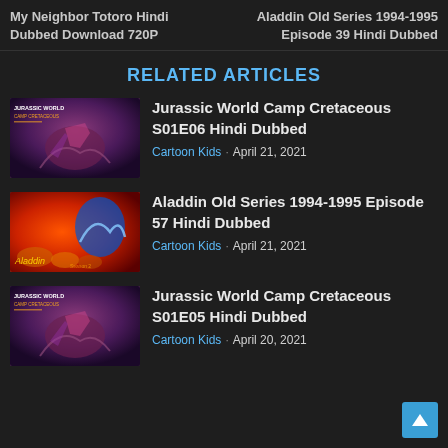My Neighbor Totoro Hindi Dubbed Download 720P
Aladdin Old Series 1994-1995 Episode 39 Hindi Dubbed
RELATED ARTICLES
[Figure (screenshot): Thumbnail for Jurassic World Camp Cretaceous episode]
Jurassic World Camp Cretaceous S01E06 Hindi Dubbed
Cartoon Kids · April 21, 2021
[Figure (screenshot): Thumbnail for Aladdin Old Series episode]
Aladdin Old Series 1994-1995 Episode 57 Hindi Dubbed
Cartoon Kids · April 21, 2021
[Figure (screenshot): Thumbnail for Jurassic World Camp Cretaceous episode]
Jurassic World Camp Cretaceous S01E05 Hindi Dubbed
Cartoon Kids · April 20, 2021